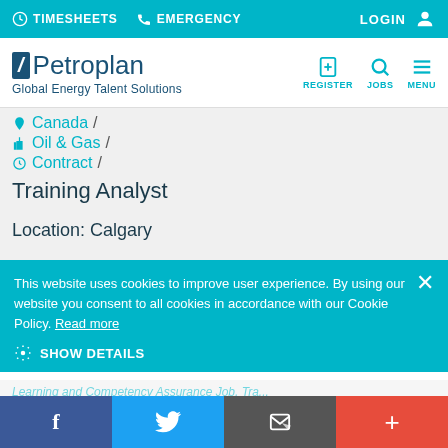TIMESHEETS  EMERGENCY  LOGIN
[Figure (logo): Petroplan Global Energy Talent Solutions logo with navigation icons (REGISTER, JOBS, MENU)]
Canada /
Oil & Gas /
Contract /
Training Analyst
Location: Calgary
Contract 12 months
This website uses cookies to improve user experience. By using our website you consent to all cookies in accordance with our Cookie Policy. Read more
SHOW DETAILS
Facebook  Twitter  Email  +